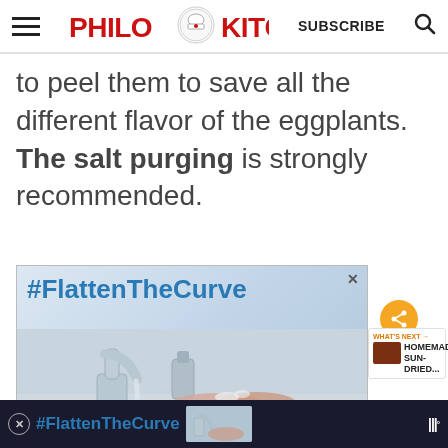Philos Kitchen | SUBSCRIBE
to peel them to save all the different flavor of the eggplants. The salt purging is strongly recommended.
[Figure (photo): Advertisement banner with #FlattenTheCurve text over a kitchen faucet and handwashing scene]
[Figure (photo): Bottom advertisement bar with #FlattenTheCurve text and faucet image on dark background]